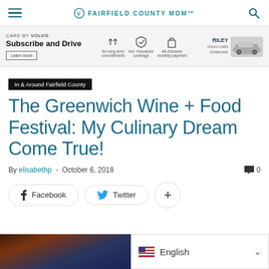FAIRFIELD COUNTY MOM
[Figure (infographic): Care by Volvo advertisement: Subscribe and Drive banner with icons for No long term commitments, Incl. insurance coverage, All-inclusive monthly payment, and Riley Volvo Stamford car image]
In & Around Fairfield County
The Greenwich Wine + Food Festival: My Culinary Dream Come True!
By elisabethp - October 6, 2018  0
Facebook   Twitter   +
[Figure (photo): Bottom portion of article page showing a dark food/drink photo on the left and an English language selector on the right]